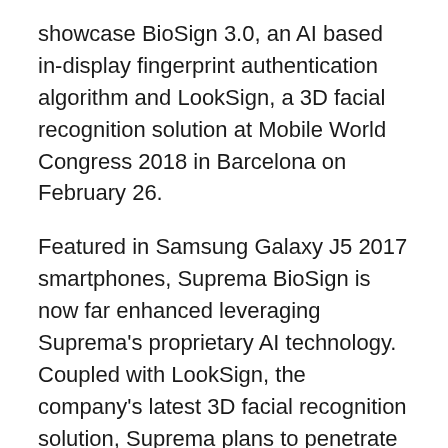showcase BioSign 3.0, an AI based in-display fingerprint authentication algorithm and LookSign, a 3D facial recognition solution at Mobile World Congress 2018 in Barcelona on February 26.
Featured in Samsung Galaxy J5 2017 smartphones, Suprema BioSign is now far enhanced leveraging Suprema's proprietary AI technology. Coupled with LookSign, the company's latest 3D facial recognition solution, Suprema plans to penetrate next generation premium smartphone market.
In the case of in-display fingerprint recognition, complexity of algorithm is known to be very high due to its sensor structure and imaging characteristics. Consequently, algorithm now plays more critical role in recognition performance compared to conventional sensors.